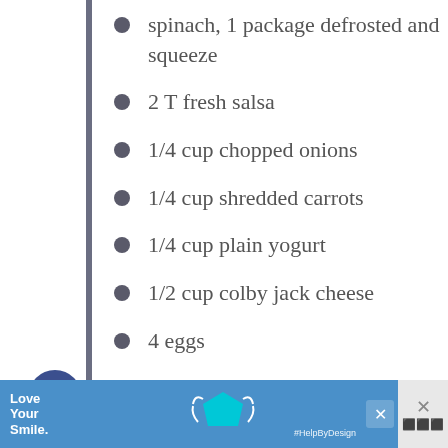spinach, 1 package defrosted and squeeze
2 T fresh salsa
1/4 cup chopped onions
1/4 cup shredded carrots
1/4 cup plain yogurt
1/2 cup colby jack cheese
4 eggs
freshly ground pepper
[Figure (other): Social media share buttons: Facebook (blue circle with f), Twitter (cyan circle with bird icon), Pinterest (red circle with P)]
[Figure (other): Advertisement banner: Love Your Smile. #HelpByDesign with cyan pentagon logo shape]